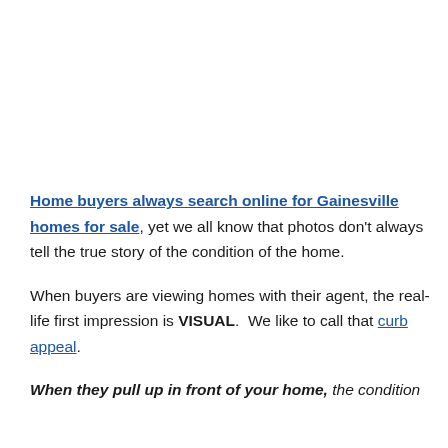Home buyers always search online for Gainesville homes for sale, yet we all know that photos don't always tell the true story of the condition of the home.
When buyers are viewing homes with their agent, the real-life first impression is VISUAL. We like to call that curb appeal.
When they pull up in front of your home, the condition